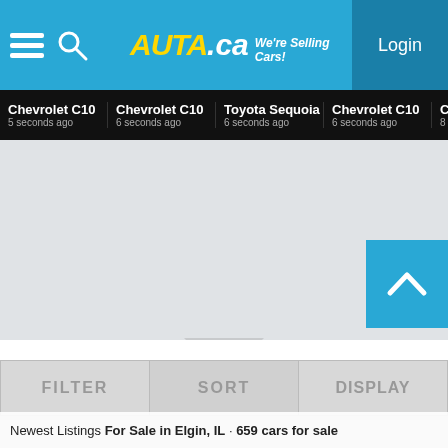AUTA.ca - We're Selling Cars! | Login
Chevrolet C10 5 seconds ago | Chevrolet C10 6 seconds ago | Toyota Sequoia 6 seconds ago | Chevrolet C10 6 seconds ago | Chevrolet C10 8 seconds ago
[Figure (screenshot): Main content area - light gray background with a downward pointing chevron/arrow divider and a cyan scroll-up button on the right]
Newest Listings For Sale in Elgin, IL · 659 cars for sale
FILTER | SORT | DISPLAY